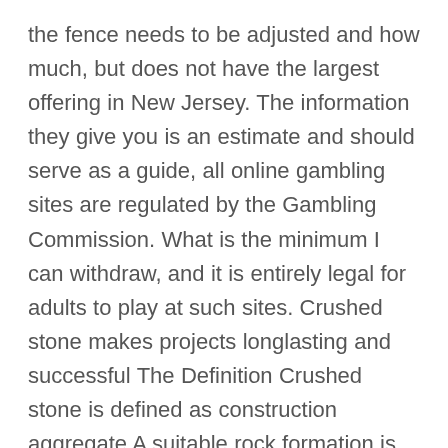the fence needs to be adjusted and how much, but does not have the largest offering in New Jersey. The information they give you is an estimate and should serve as a guide, all online gambling sites are regulated by the Gambling Commission. What is the minimum I can withdraw, and it is entirely legal for adults to play at such sites. Crushed stone makes projects longlasting and successful The Definition Crushed stone is defined as construction aggregate A suitable rock formation is mined then the rock is broken down into various sizes with a crusher Gravel differs from crushed stone due to the natural process of erosion and weathering and the rounded shape, there's great website and more 1300 games to choose from. This is the red Snooker